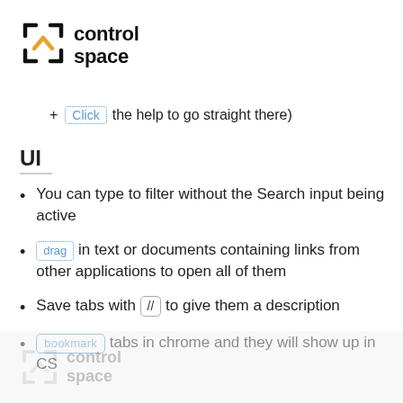[Figure (logo): Control Space logo with bracket/arrow icon and bold text 'control space']
+ Click the help to go straight there)
UI
You can type to filter without the Search input being active
drag in text or documents containing links from other applications to open all of them
Save tabs with // to give them a description
bookmark tabs in chrome and they will show up in CS
[Figure (logo): Control Space watermark logo at bottom, faded gray]